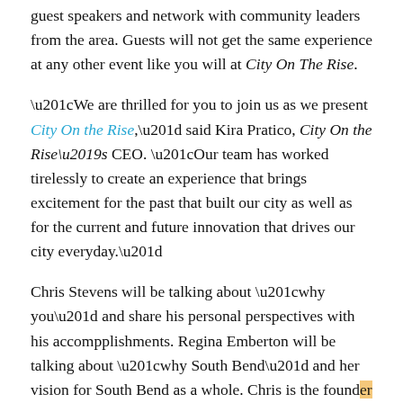guest speakers and network with community leaders from the area. Guests will not get the same experience at any other event like you will at City On The Rise.
“We are thrilled for you to join us as we present City On the Rise,” said Kira Pratico, City On the Rise’s CEO. “Our team has worked tirelessly to create an experience that brings excitement for the past that built our city as well as for the current and future innovation that drives our city everyday.”
Chris Stevens will be talking about “why you” and share his personal perspectives with his accompplishments. Regina Emberton will be talking about “why South Bend” and her vision for South Bend as a whole. Chris is the founder and CEO of CS 74 Ventures LLC. Chris was a founder of the Keurig Premium Coffee System and currently teaches in the Mendoza College of Business. Regina is the President & CEO of South Bend First Regional Partnership, which